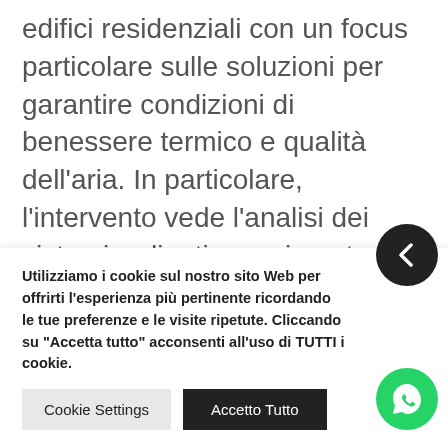edifici residenziali con un focus particolare sulle soluzioni per garantire condizioni di benessere termico e qualità dell'aria. In particolare, l'intervento vede l'analisi dei sistemi radianti a pavimento ed i vantaggi dell'impiego di tali impianti sia per il riscaldamento sia per il raffrescamento. Infine, si procederà nell'analizzare l'importanza della qualità dell'aria nell'influenzare la condizione di benessere degli
Utilizziamo i cookie sul nostro sito Web per offrirti l'esperienza più pertinente ricordando le tue preferenze e le visite ripetute. Cliccando su "Accetta tutto" acconsenti all'uso di TUTTI i cookie.
Cookie Settings
Accetto Tutto